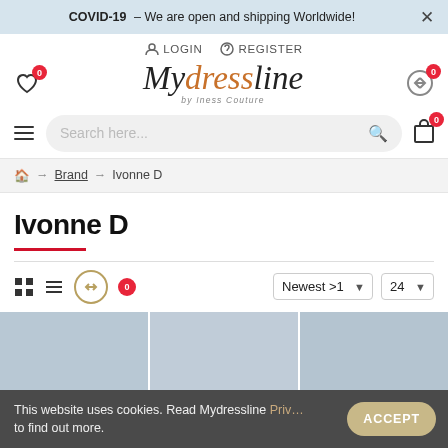COVID-19 – We are open and shipping Worldwide! ×
LOGIN   REGISTER
[Figure (logo): Mydressline by Iness Couture logo in cursive script with orange accents]
Search here...
🏠 → Brand → Ivonne D
Ivonne D
Newest >1  24
This website uses cookies. Read Mydressline Priv... to find out more.
[Figure (photo): Product dress images at bottom of page showing models in dresses]